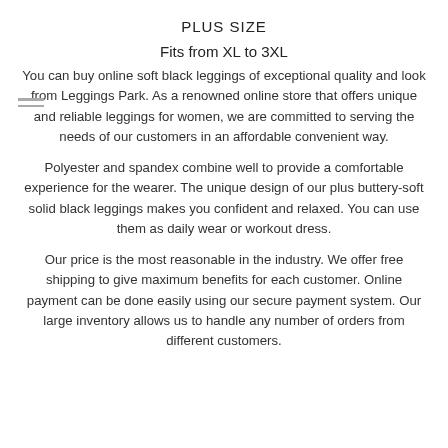PLUS SIZE
Fits from XL to 3XL
You can buy online soft black leggings of exceptional quality and look from Leggings Park. As a renowned online store that offers unique and reliable leggings for women, we are committed to serving the needs of our customers in an affordable convenient way.
Polyester and spandex combine well to provide a comfortable experience for the wearer. The unique design of our plus buttery-soft solid black leggings makes you confident and relaxed. You can use them as daily wear or workout dress.
Our price is the most reasonable in the industry. We offer free shipping to give maximum benefits for each customer. Online payment can be done easily using our secure payment system. Our large inventory allows us to handle any number of orders from different customers.